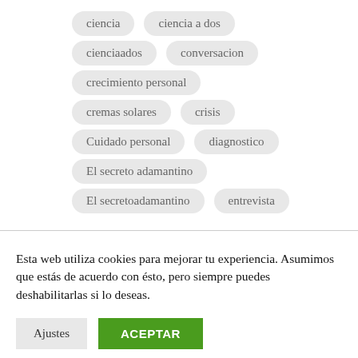ciencia
ciencia a dos
cienciaados
conversacion
crecimiento personal
cremas solares
crisis
Cuidado personal
diagnostico
El secreto adamantino
El secretoadamantino
entrevista
Esta web utiliza cookies para mejorar tu experiencia. Asumimos que estás de acuerdo con ésto, pero siempre puedes deshabilitarlas si lo deseas.
Ajustes
ACEPTAR